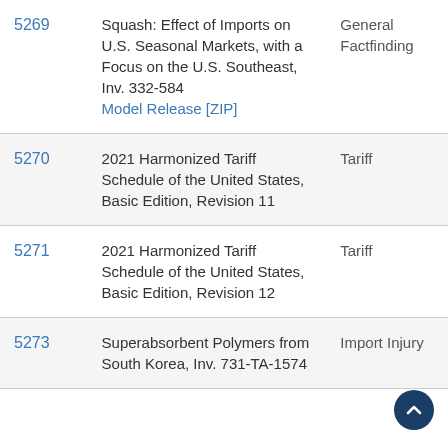| ID | Title | Type |
| --- | --- | --- |
| 5269 | Squash: Effect of Imports on U.S. Seasonal Markets, with a Focus on the U.S. Southeast, Inv. 332-584
Model Release [ZIP] | General Factfinding |
| 5270 | 2021 Harmonized Tariff Schedule of the United States, Basic Edition, Revision 11 | Tariff |
| 5271 | 2021 Harmonized Tariff Schedule of the United States, Basic Edition, Revision 12 | Tariff |
| 5273 | Superabsorbent Polymers from South Korea, Inv. 731-TA-1574 | Import Injury |